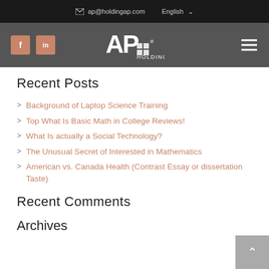ap@holdingap.com  English
[Figure (logo): AP Holding logo with Facebook and LinkedIn icons and hamburger menu]
Recent Posts
Background of Laptop Science Training
Top What Is Basic Math in College Reviews!
What Is actually a Social Technology?
The Unusual Secret of Interested in Mathematics
American vs. Canada Health (Contrast Essay or dissertation Taste)
Recent Comments
Archives